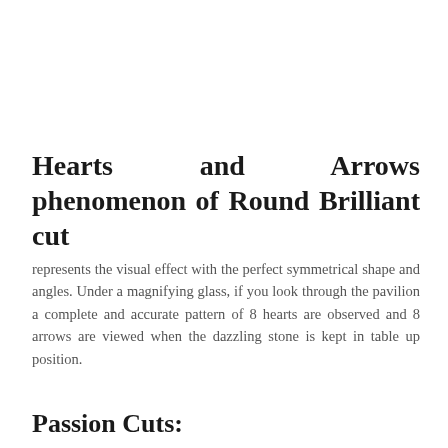Hearts and Arrows phenomenon of Round Brilliant cut
represents the visual effect with the perfect symmetrical shape and angles. Under a magnifying glass, if you look through the pavilion a complete and accurate pattern of 8 hearts are observed and 8 arrows are viewed when the dazzling stone is kept in table up position.
Passion Cuts: